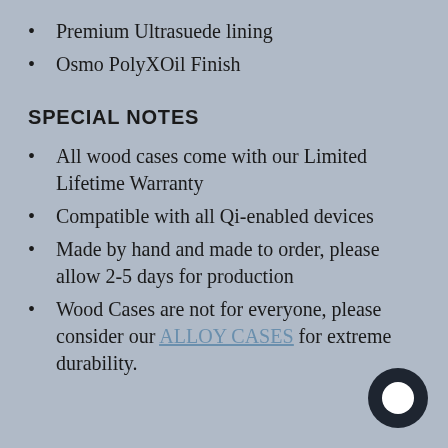Premium Ultrasuede lining
Osmo PolyXOil Finish
SPECIAL NOTES
All wood cases come with our Limited Lifetime Warranty
Compatible with all Qi-enabled devices
Made by hand and made to order, please allow 2-5 days for production
Wood Cases are not for everyone, please consider our ALLOY CASES for extreme durability.